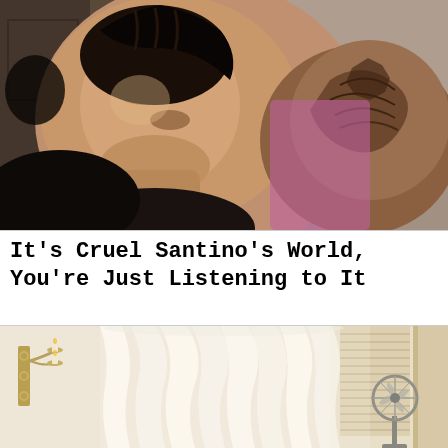[Figure (photo): Close-up selfie photo of a young Black man with braided hair, wearing a chain necklace. He has tattoos visible on his arm/shoulder. Background shows a wall and pink/purple fabric.]
It’s Cruel Santino’s World, You’re Just Listening to It
[Figure (photo): Interior room photo showing flowing white tulle or sheer curtain fabric, a window with blinds on the right, a wall-mounted candelabra sconce on the left, and an electric fan on the right side.]